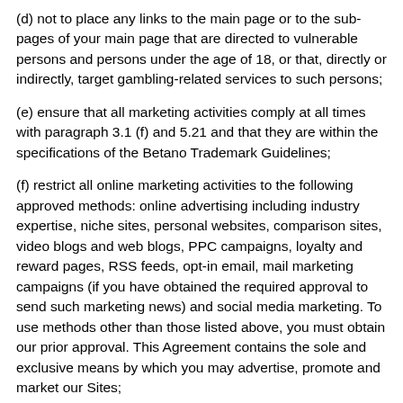(d) not to place any links to the main page or to the sub-pages of your main page that are directed to vulnerable persons and persons under the age of 18, or that, directly or indirectly, target gambling-related services to such persons;
(e) ensure that all marketing activities comply at all times with paragraph 3.1 (f) and 5.21 and that they are within the specifications of the Betano Trademark Guidelines;
(f) restrict all online marketing activities to the following approved methods: online advertising including industry expertise, niche sites, personal websites, comparison sites, video blogs and web blogs, PPC campaigns, loyalty and reward pages, RSS feeds, opt-in email, mail marketing campaigns (if you have obtained the required approval to send such marketing news) and social media marketing. To use methods other than those listed above, you must obtain our prior approval. This Agreement contains the sole and exclusive means by which you may advertise, promote and market our Sites;